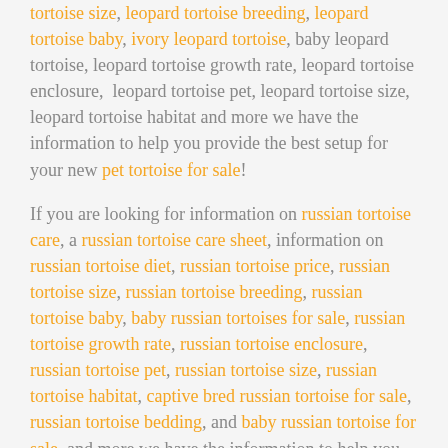tortoise size, leopard tortoise breeding, leopard tortoise baby, ivory leopard tortoise, baby leopard tortoise, leopard tortoise growth rate, leopard tortoise enclosure, leopard tortoise pet, leopard tortoise size, leopard tortoise habitat and more we have the information to help you provide the best setup for your new pet tortoise for sale!
If you are looking for information on russian tortoise care, a russian tortoise care sheet, information on russian tortoise diet, russian tortoise price, russian tortoise size, russian tortoise breeding, russian tortoise baby, baby russian tortoises for sale, russian tortoise growth rate, russian tortoise enclosure, russian tortoise pet, russian tortoise size, russian tortoise habitat, captive bred russian tortoise for sale, russian tortoise bedding, and baby russian tortoise for sale, and more we have the information to help you provide the best setup for your new pet tortoise for